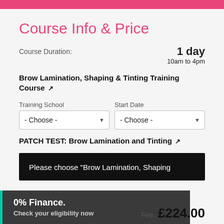Course Info & Price
Course Duration: 1 day 10am to 4pm
Brow Lamination, Shaping & Tinting Training Course ↗
Training School - Choose -  |  Start Date - Choose -
PATCH TEST: Brow Lamination and Tinting ↗
Please choose "Brow Lamination, Shaping
0% Finance. Check your eligibility now
Fee: £224.00